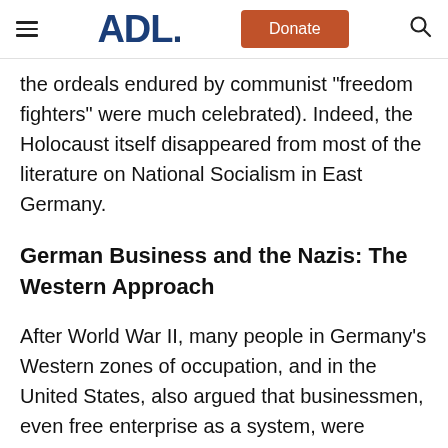ADL | Donate
the ordeals endured by communist "freedom fighters" were much celebrated). Indeed, the Holocaust itself disappeared from most of the literature on National Socialism in East Germany.
German Business and the Nazis: The Western Approach
After World War II, many people in Germany's Western zones of occupation, and in the United States, also argued that businessmen, even free enterprise as a system, were responsible for Hitler's rise, his wars of aggression, and his crimes